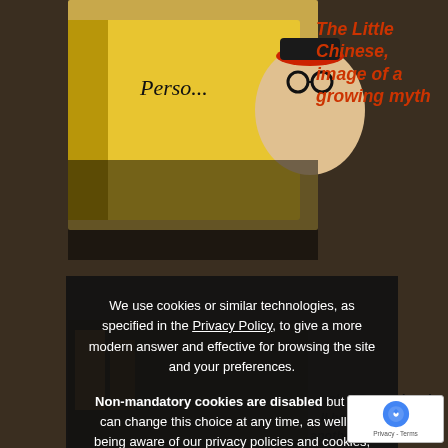[Figure (photo): Background photo of Persol advertisement book/poster showing a cartoon caricature character with glasses and hat, alongside other advertising materials on a shelf or display]
The Little Chinese, image of a growing myth
We use cookies or similar technologies, as specified in the Privacy Policy, to give a more modern answer and effective for browsing the site and your preferences.
Non-mandatory cookies are disabled but you can change this choice at any time, as well as being aware of our privacy policies and cookies, by clicking on the padlock image at the bottom left.
Accept all
Refuse
Manage settings
...Eugenio Colmo, ...olia, ...little chinese" ...ool of Berry shop in, ...ll be, redesigne... another 50 years, in all Ratti's advertisements, including Persol,